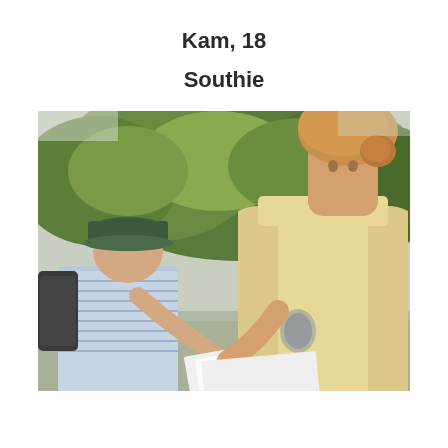Kam, 18
Southie
[Figure (photo): Two young people outdoors looking at papers together. On the left, a shorter person wearing a blue striped t-shirt and a dark green cap with a backpack, leaning forward. On the right, a taller person with reddish-blonde hair in a bun, wearing a light yellow tank top, holding papers. Green trees visible in the background.]